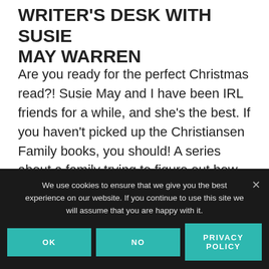WRITER'S DESK WITH SUSIE MAY WARREN
Are you ready for the perfect Christmas read?! Susie May and I have been IRL friends for a while, and she's the best. If you haven't picked up the Christiansen Family books, you should! A series about a family trying to figure out how faith meets real life, set on the north shore of Minnesota. The newest book in the series
We use cookies to ensure that we give you the best experience on our website. If you continue to use this site we will assume that you are happy with it.
OK  NO  PRIVACY POLICY